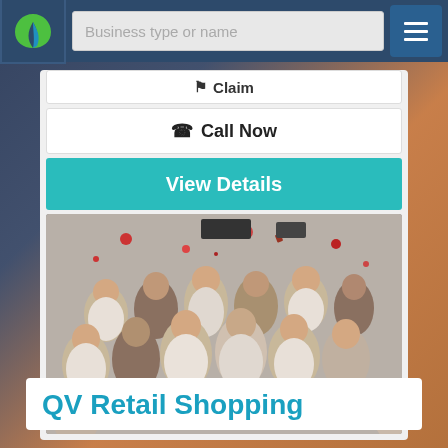[Figure (screenshot): Top navigation bar with green/teal leaf logo on dark blue background, search input with placeholder 'Business type or name', and hamburger menu button]
Claim
Call Now
View Details
[Figure (photo): Group photo of approximately 15 people dressed in white, with apples and confetti thrown in the air, posing together in what appears to be an indoor setting]
QV Retail Shopping